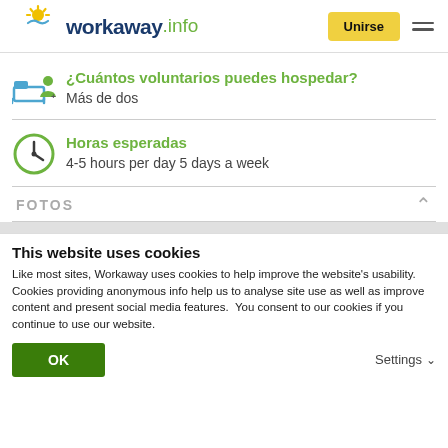[Figure (logo): workaway.info logo with sun icon]
¿Cuántos voluntarios puedes hospedar?
Más de dos
Horas esperadas
4-5 hours per day 5 days a week
FOTOS
This website uses cookies
Like most sites, Workaway uses cookies to help improve the website's usability. Cookies providing anonymous info help us to analyse site use as well as improve content and present social media features.  You consent to our cookies if you continue to use our website.